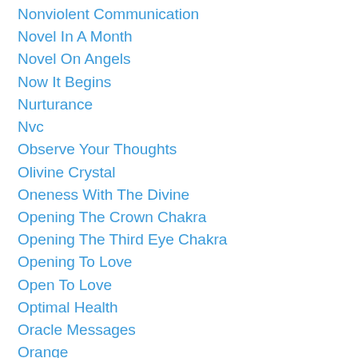Nonviolent Communication
Novel In A Month
Novel On Angels
Now It Begins
Nurturance
Nvc
Observe Your Thoughts
Olivine Crystal
Oneness With The Divine
Opening The Crown Chakra
Opening The Third Eye Chakra
Opening To Love
Open To Love
Optimal Health
Oracle Messages
Orange
Overcoming Abuse
Overcoming Grief
Over-sexed
Pain Relief